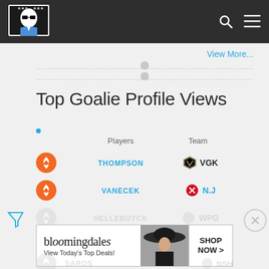[Figure (logo): Hockey website logo with illustrated face wearing sunglasses]
View More...
Top Goalie Profile Views
| Players | Team |
| --- | --- |
| THOMPSON | VGK |
| VANECEK | N.J |
| HELLEBUYCK | WPG |
| SAROS | NSH |
[Figure (infographic): Bloomingdales advertisement - View Today's Top Deals / SHOP NOW]